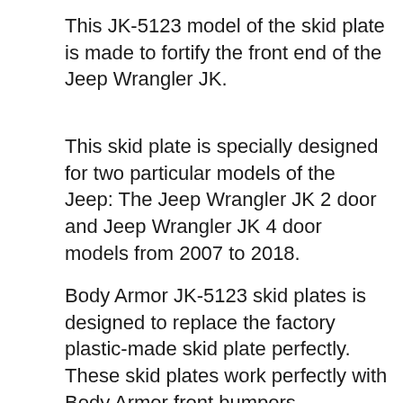This JK-5123 model of the skid plate is made to fortify the front end of the Jeep Wrangler JK.
This skid plate is specially designed for two particular models of the Jeep: The Jeep Wrangler JK 2 door and Jeep Wrangler JK 4 door models from 2007 to 2018.
Body Armor JK-5123 skid plates is designed to replace the factory plastic-made skid plate perfectly. These skid plates work perfectly with Body Armor front bumpers.
However, if you’re planning to use the skid plate with an aftermarket bumper or a bumper from another brand, you might want to get the compatibility information from the